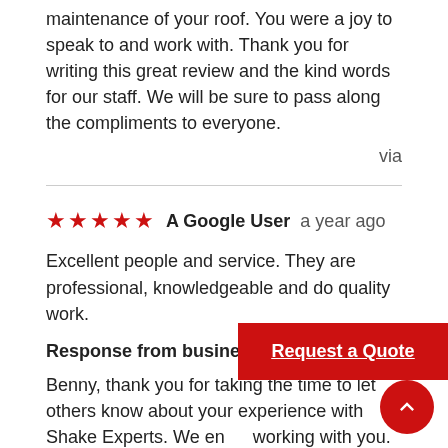maintenance of your roof. You were a joy to speak to and work with. Thank you for writing this great review and the kind words for our staff. We will be sure to pass along the compliments to everyone.
via
★★★★★  A Google User  a year ago
Excellent people and service. They are professional, knowledgeable and do quality work.
Response from business owner
Benny, thank you for taking the time to let others know about your experience with Shake Experts. We enjoy working with you.
[Figure (other): Red 'Request a Quote' button overlay]
[Figure (other): Red circular scroll-to-top button with white chevron arrow]